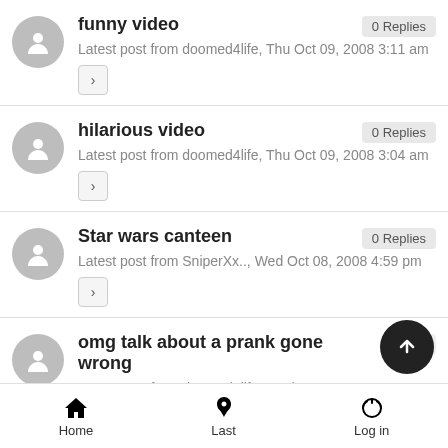funny video — 0 Replies — Latest post from doomed4life, Thu Oct 09, 2008 3:11 am
hilarious video — 0 Replies — Latest post from doomed4life, Thu Oct 09, 2008 3:04 am
Star wars canteen — 0 Replies — Latest post from SniperXx.., Wed Oct 08, 2008 4:59 pm
omg talk about a prank gone wrong — 0 Replies — Latest post from doomed4life, Wed Oct 08, 2008 1:...
Home  Last  Log in